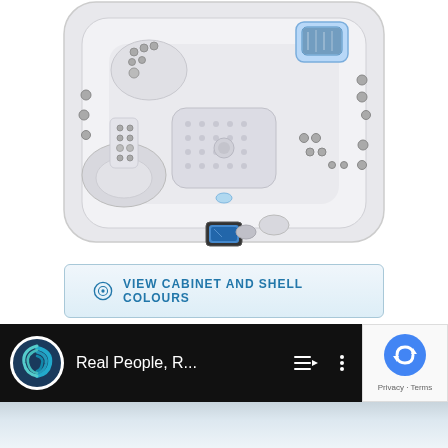[Figure (photo): Top-down aerial view of a white hot tub / spa with multiple jets, seating areas, a blue LED waterfall feature, and a control panel touchscreen at the bottom center. The spa has a light grey/white shell with various hydrotherapy jets and seating positions visible.]
VIEW CABINET AND SHELL COLOURS
[Figure (screenshot): A YouTube video player bar showing a channel with a blue-green swirl logo, channel name 'Real People, R...' with a queue and more-options icon, on a black background.]
[Figure (other): Google reCAPTCHA widget overlay showing the reCAPTCHA logo and 'Privacy - Terms' text on a light grey background card.]